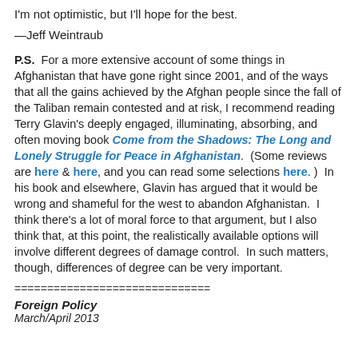I'm not optimistic, but I'll hope for the best.
—Jeff Weintraub
P.S.  For a more extensive account of some things in Afghanistan that have gone right since 2001, and of the ways that all the gains achieved by the Afghan people since the fall of the Taliban remain contested and at risk, I recommend reading Terry Glavin's deeply engaged, illuminating, absorbing, and often moving book Come from the Shadows: The Long and Lonely Struggle for Peace in Afghanistan.  (Some reviews are here & here, and you can read some selections here. )  In his book and elsewhere, Glavin has argued that it would be wrong and shameful for the west to abandon Afghanistan.  I think there's a lot of moral force to that argument, but I also think that, at this point, the realistically available options will involve different degrees of damage control.  In such matters, though, differences of degree can be very important.
==============================
Foreign Policy
March/April 2013